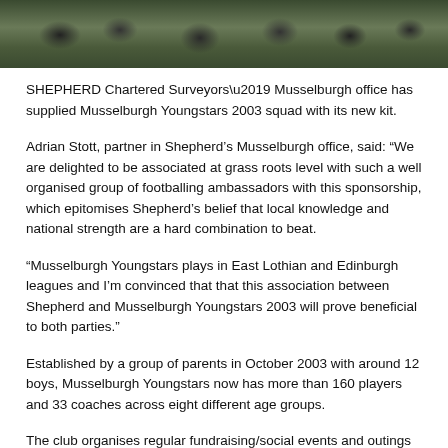[Figure (photo): Group photo of children in football kits on a grass field, partially cropped at top of page]
SHEPHERD Chartered Surveyors’ Musselburgh office has supplied Musselburgh Youngstars 2003 squad with its new kit.
Adrian Stott, partner in Shepherd’s Musselburgh office, said: “We are delighted to be associated at grass roots level with such a well organised group of footballing ambassadors with this sponsorship, which epitomises Shepherd’s belief that local knowledge and national strength are a hard combination to beat.
“Musselburgh Youngstars plays in East Lothian and Edinburgh leagues and I’m convinced that that this association between Shepherd and Musselburgh Youngstars 2003 will prove beneficial to both parties.”
Established by a group of parents in October 2003 with around 12 boys, Musselburgh Youngstars now has more than 160 players and 33 coaches across eight different age groups.
The club organises regular fundraising/social events and outings for parents and children, as well as an annual tournament which was attended by more than 400 children and over 1,000 people this year.